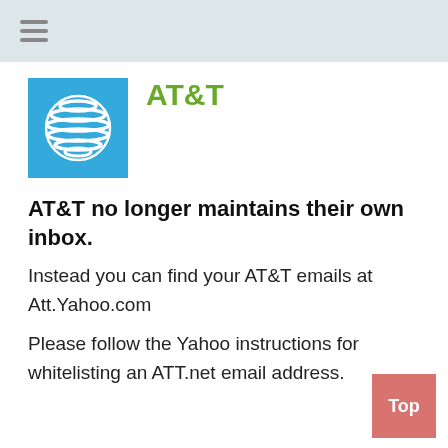☰
[Figure (logo): AT&T logo — blue square with white globe/sphere stripes and white horizontal lines]
AT&T
AT&T no longer maintains their own inbox.
Instead you can find your AT&T emails at Att.Yahoo.com
Please follow the Yahoo instructions for whitelisting an ATT.net email address.